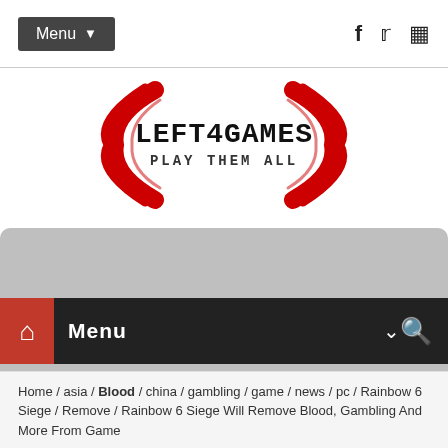Menu (navigation bar with social icons: f, twitter, instagram)
[Figure (logo): LEFT4GAMES - PLAY THEM ALL logo with red decorative arcs on left and right sides]
We use cookies to ensure you get the best experience on our website. By continuing, you are agreeing to our use of cookies. Learn more
Got it!
Home / asia / Blood / china / gambling / game / news / pc / Rainbow 6 Siege / Remove / Rainbow 6 Siege Will Remove Blood, Gambling And More From Game